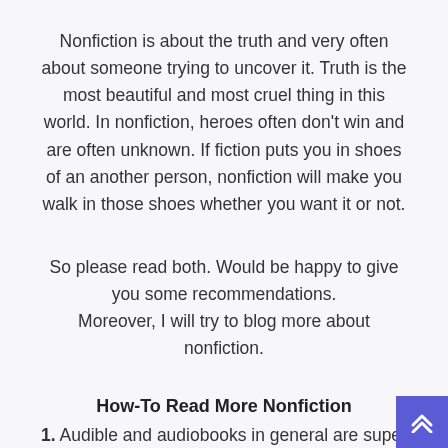Nonfiction is about the truth and very often about someone trying to uncover it. Truth is the most beautiful and most cruel thing in this world. In nonfiction, heroes often don't win and are often unknown. If fiction puts you in shoes of an another person, nonfiction will make you walk in those shoes whether you want it or not.
So please read both. Would be happy to give you some recommendations. Moreover, I will try to blog more about nonfiction.
How-To Read More Nonfiction
1. Audible and audiobooks in general are super